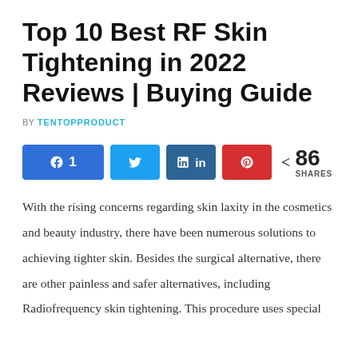Top 10 Best RF Skin Tightening in 2022 Reviews | Buying Guide
BY TENTOPPRODUCT
[Figure (infographic): Social share buttons: Facebook (1 share), Twitter, LinkedIn, Pinterest, and a share count showing 86 SHARES]
With the rising concerns regarding skin laxity in the cosmetics and beauty industry, there have been numerous solutions to achieving tighter skin. Besides the surgical alternative, there are other painless and safer alternatives, including Radiofrequency skin tightening. This procedure uses special